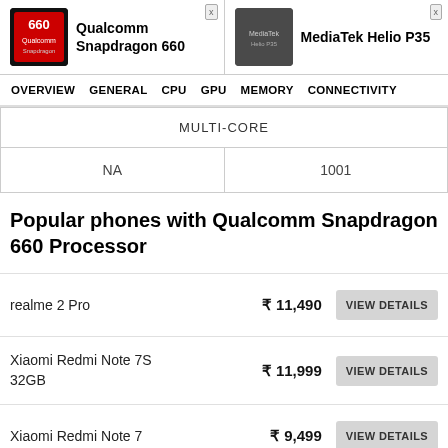Qualcomm Snapdragon 660 | MediaTek Helio P35
OVERVIEW  GENERAL  CPU  GPU  MEMORY  CONNECTIVITY
| MULTI-CORE |
| --- |
| NA | 1001 |
Popular phones with Qualcomm Snapdragon 660 Processor
realme 2 Pro   ₹ 11,490   VIEW DETAILS
Xiaomi Redmi Note 7S 32GB   ₹ 11,999   VIEW DETAILS
Xiaomi Redmi Note 7   ₹ 9,499   VIEW DETAILS